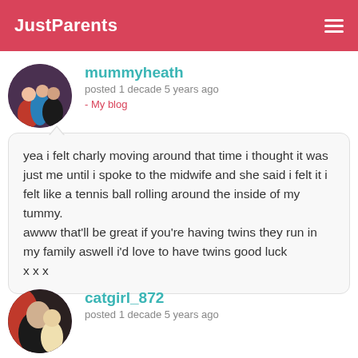JustParents
mummyheath
posted 1 decade 5 years ago
- My blog
yea i felt charly moving around that time i thought it was just me until i spoke to the midwife and she said i felt it i felt like a tennis ball rolling around the inside of my tummy.
awww that'll be great if you're having twins they run in my family aswell i'd love to have twins good luck
x x x
catgirl_872
posted 1 decade 5 years ago